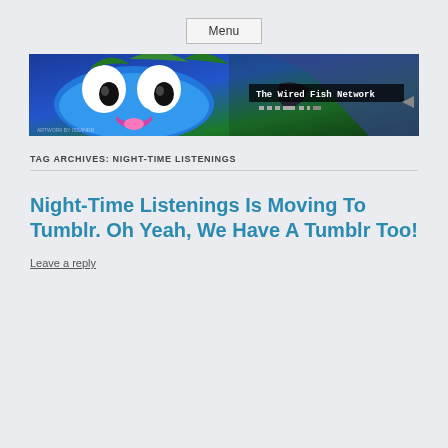Menu
[Figure (illustration): Banner image for The Wired Fish Network showing a cartoon blue creature with big eyes and a pink tongue on the left, and an anime-style character on the right, with a pixel-font label reading 'The Wired Fish Network']
TAG ARCHIVES: NIGHT-TIME LISTENINGS
Night-Time Listenings Is Moving To Tumblr. Oh Yeah, We Have A Tumblr Too!
Leave a reply